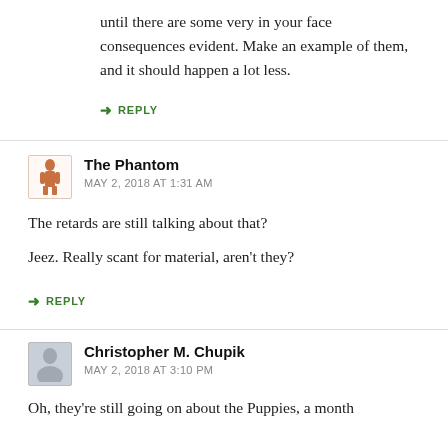until there are some very in your face consequences evident. Make an example of them, and it should happen a lot less.
↳ REPLY
The Phantom
MAY 2, 2018 AT 1:31 AM
The retards are still talking about that?

Jeez. Really scant for material, aren't they?
↳ REPLY
Christopher M. Chupik
MAY 2, 2018 AT 3:10 PM
Oh, they're still going on about the Puppies, a month